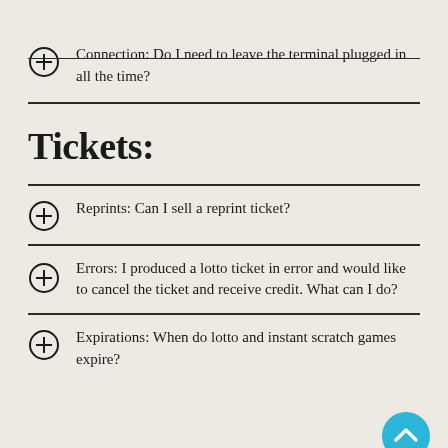Connection: Do I need to leave the terminal plugged in all the time?
Tickets:
Reprints: Can I sell a reprint ticket?
Errors: I produced a lotto ticket in error and would like to cancel the ticket and receive credit. What can I do?
Expirations: When do lotto and instant scratch games expire?